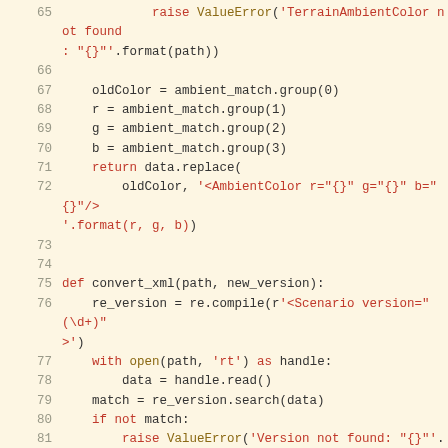Code listing lines 65-85: Python source code for XML conversion functions including raise ValueError, ambient color matching, and convert_xml function with version handling.